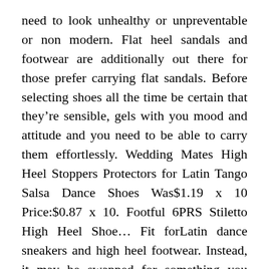need to look unhealthy or unpreventable or non modern. Flat heel sandals and footwear are additionally out there for those prefer carrying flat sandals. Before selecting shoes all the time be certain that they're sensible, gels with you mood and attitude and you need to be able to carry them effortlessly. Wedding Mates High Heel Stoppers Protectors for Latin Tango Salsa Dance Shoes Was$1.19 x 10 Price:$0.87 x 10. Footful 6PRS Stiletto High Heel Shoe… Fit forLatin dance sneakers and high heel footwear. Instead, it may be swapped for something you actually like or you can promote it and buy the season's sassiest footwear with your income. According to fashion specialists, it makes individuals feel proud that they're within the footwear (by way of design after all) of their